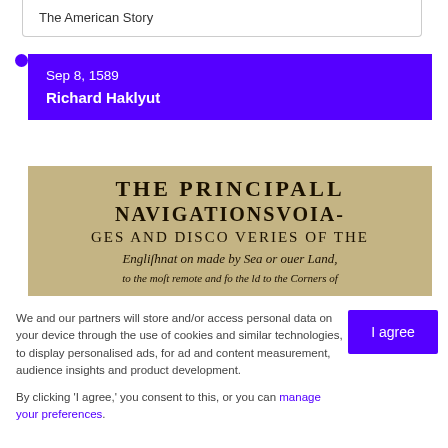The American Story
Sep 8, 1589
Richard Haklyut
[Figure (photo): Old book title page showing 'THE PRINCIPALL NAVIGATIONS VOIA-GES AND DISCO VERIES OF THE Engliſhnat on made by Sea or ouer Land, … to the most remote and fo the ld to the Corners of']
We and our partners will store and/or access personal data on your device through the use of cookies and similar technologies, to display personalised ads, for ad and content measurement, audience insights and product development.

By clicking 'I agree,' you consent to this, or you can manage your preferences.